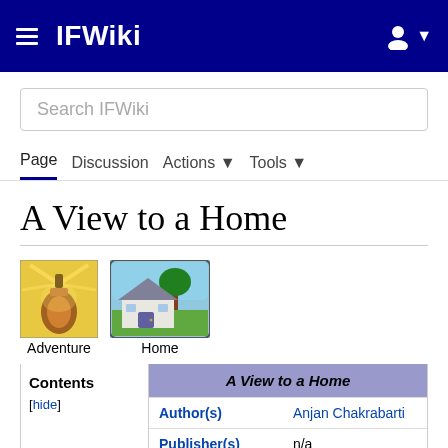IFWiki
Search IFWiki
Page  Discussion  Actions  Tools
A View to a Home
[Figure (illustration): Two pixel-art icons: a lantern labeled Adventure and a house labeled Home]
| A View to a Home |
| --- |
| Author(s) | Anjan Chakrabarti |
| Publisher(s) | n/a |
| Release date(s) | 20-Apr-2009 |